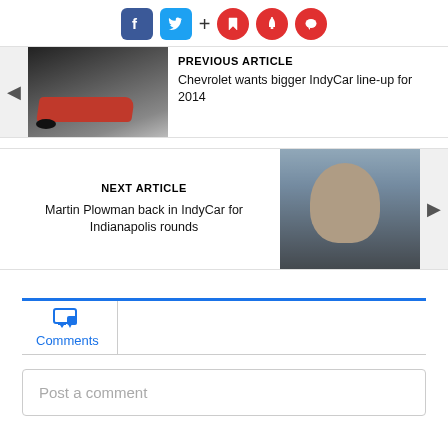[Figure (other): Social sharing bar with Facebook, Twitter, plus sign, bookmark, bell, and chat bubble icons]
[Figure (photo): Previous article thumbnail: IndyCar race car on track]
PREVIOUS ARTICLE
Chevrolet wants bigger IndyCar line-up for 2014
NEXT ARTICLE
Martin Plowman back in IndyCar for Indianapolis rounds
[Figure (photo): Next article thumbnail: racing driver portrait]
Comments
Post a comment